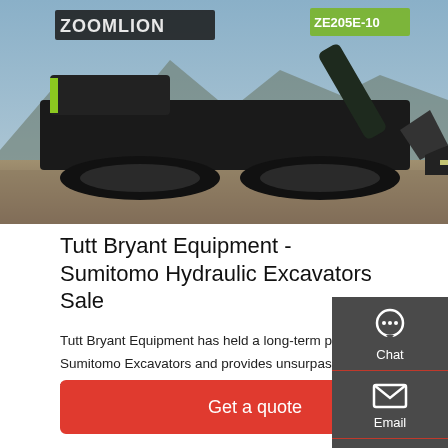[Figure (photo): Photo of a Zoomlion ZE205E-10 hydraulic excavator on a gravel surface with mountains in background.]
Tutt Bryant Equipment - Sumitomo Hydraulic Excavators Sale
Tutt Bryant Equipment has held a long-term partnership with Sumitomo Excavators and provides unsurpassed technical training to their sales and support teams, combined with relevant functional knowledge, meaning customers receive the ...
[Figure (infographic): Right-side floating sidebar with Chat, Email, and Contact buttons on dark grey background.]